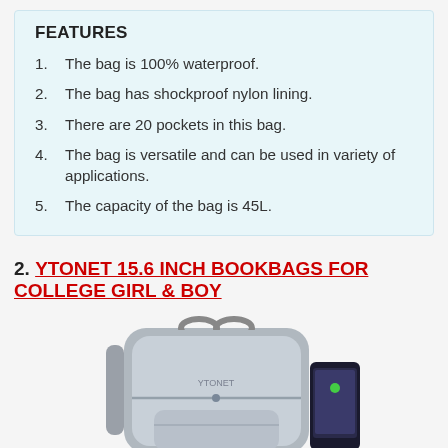FEATURES
The bag is 100% waterproof.
The bag has shockproof nylon lining.
There are 20 pockets in this bag.
The bag is versatile and can be used in variety of applications.
The capacity of the bag is 45L.
2. YTONET 15.6 INCH BOOKBAGS FOR COLLEGE GIRL & BOY
[Figure (photo): Gray YTONET backpack with double top handles and a smartphone shown beside it]